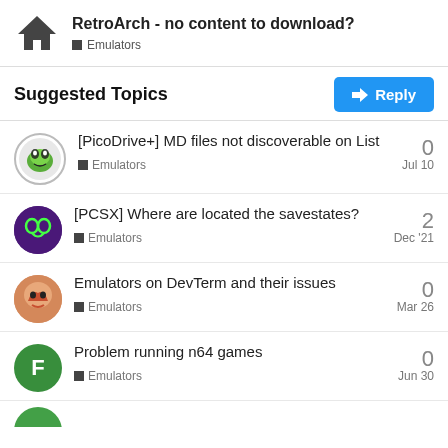RetroArch - no content to download? | Emulators
Suggested Topics
[PicoDrive+] MD files not discoverable on List | Emulators | Jul 10 | 0 replies
[PCSX] Where are located the savestates? | Emulators | Dec '21 | 2 replies
Emulators on DevTerm and their issues | Emulators | Mar 26 | 0 replies
Problem running n64 games | Emulators | Jun 30 | 0 replies